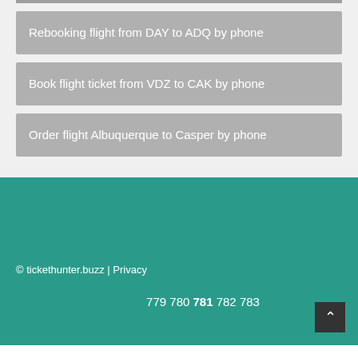Rebooking flight from DAY to ADQ by phone
Book flight ticket from VDZ to CAK by phone
Order flight Albuquerque to Casper by phone
© tickethunter.buzz | Privacy
779 780 781 782 783